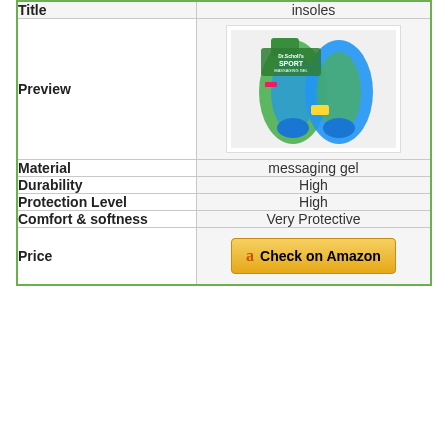| Title | insoles |
| --- | --- |
| Preview | [product image of Dr. Scholl's Sport insoles] |
| Material | messaging gel |
| Durability | High |
| Protection Level | High |
| Comfort & softness | Very Protective |
| Price | Check on Amazon |